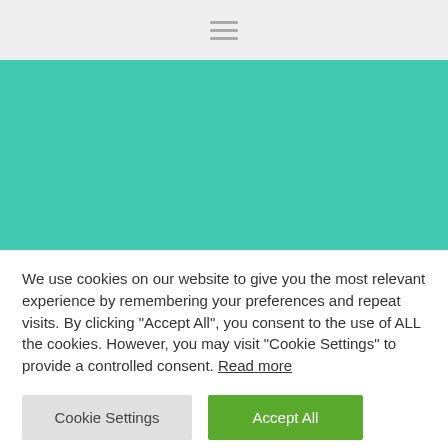[Figure (other): Navigation bar with hamburger menu icon (three horizontal lines) centered on a light gray background]
[Figure (other): Solid teal/turquoise colored banner area filling the width of the page]
We use cookies on our website to give you the most relevant experience by remembering your preferences and repeat visits. By clicking "Accept All", you consent to the use of ALL the cookies. However, you may visit "Cookie Settings" to provide a controlled consent. Read more
Cookie Settings
Accept All